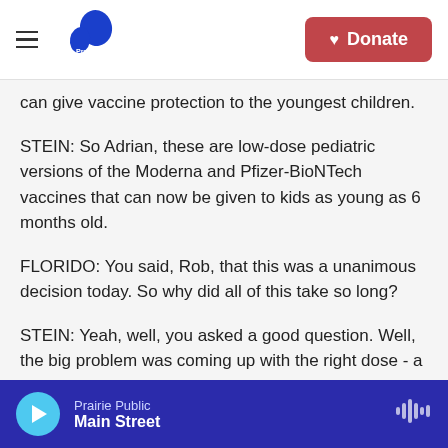Prairie Public | Donate
can give vaccine protection to the youngest children.
STEIN: So Adrian, these are low-dose pediatric versions of the Moderna and Pfizer-BioNTech vaccines that can now be given to kids as young as 6 months old.
FLORIDO: You said, Rob, that this was a unanimous decision today. So why did all of this take so long?
STEIN: Yeah, well, you asked a good question. Well, the big problem was coming up with the right dose - a dose that would stimulate the immune system
Prairie Public | Main Street